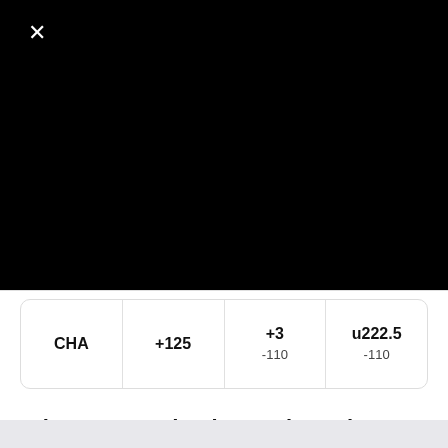[Figure (screenshot): Black area with a white X close button in the top left corner, representing a video or media player placeholder]
| Team | Moneyline | Spread | Total |
| --- | --- | --- | --- |
| CHA | +125 | +3
-110 | u222.5
-110 |
What you need to know about the Celtics
Boston struggled in the first half of its game